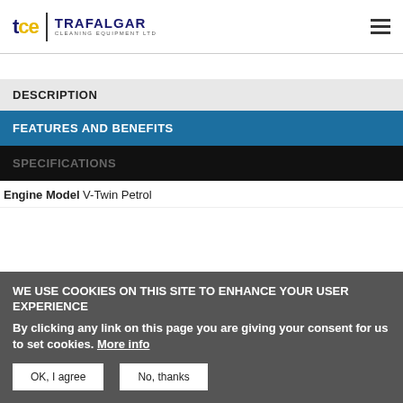Trafalgar Cleaning Equipment Ltd
DESCRIPTION
FEATURES AND BENEFITS
SPECIFICATIONS
Engine Model V-Twin Petrol
WE USE COOKIES ON THIS SITE TO ENHANCE YOUR USER EXPERIENCE
By clicking any link on this page you are giving your consent for us to set cookies. More info
OK, I agree   No, thanks